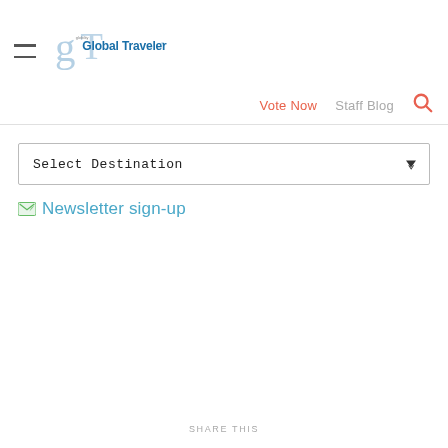Global Traveler
Vote Now  Staff Blog
Select Destination
Newsletter sign-up
SHARE THIS